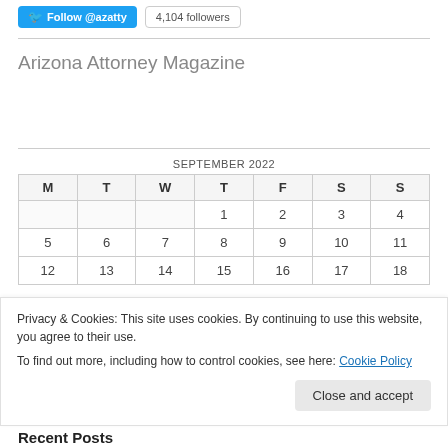[Figure (screenshot): Twitter Follow button for @azatty and a '4,104 followers' badge]
Arizona Attorney Magazine
| M | T | W | T | F | S | S |
| --- | --- | --- | --- | --- | --- | --- |
|  |  |  | 1 | 2 | 3 | 4 |
| 5 | 6 | 7 | 8 | 9 | 10 | 11 |
| 12 | 13 | 14 | 15 | 16 | 17 | 18 |
Privacy & Cookies: This site uses cookies. By continuing to use this website, you agree to their use.
To find out more, including how to control cookies, see here: Cookie Policy
Close and accept
Recent Posts